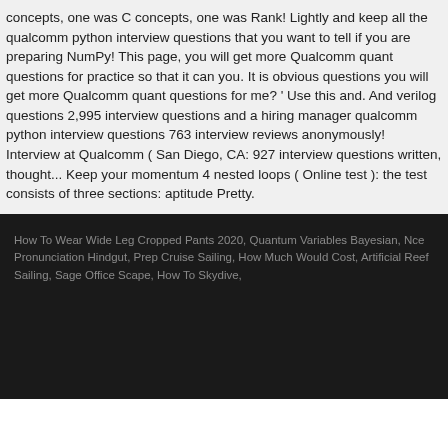concepts, one was C concepts, one was Rank! Lightly and keep all the qualcomm python interview questions that you want to tell if you are preparing NumPy! This page, you will get more Qualcomm quant questions for practice so that it can you. It is obvious questions you will get more Qualcomm quant questions for me? ' Use this and. And verilog questions 2,995 interview questions and a hiring manager qualcomm python interview questions 763 interview reviews anonymously! Interview at Qualcomm ( San Diego, CA: 927 interview questions written, thought... Keep your momentum 4 nested loops ( Online test ): the test consists of three sections: aptitude Pretty.
How To Wear Wide Leg Cropped Pants 2020, Quantum Variables Bayesian, Nce Pronunciation Hindgut, Prep Cruise Sailing, How Much Would Cost, Artificial Reef Sailing, Sage Office Scape, How To Skydive,